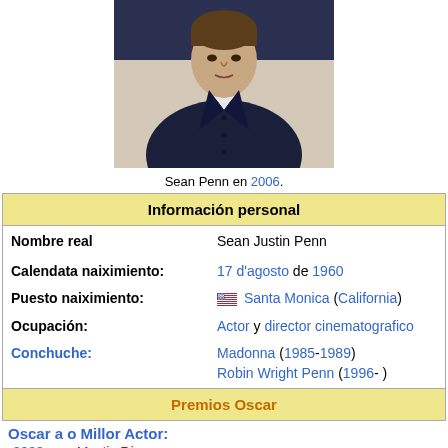[Figure (photo): Photo of Sean Penn wearing a dark navy button-up shirt, upper body visible, taken in 2006]
Sean Penn en 2006.
| Información personal |  |
| Nombre real | Sean Justin Penn |
| Calendata naiximiento: | 17 d'agosto de 1960 |
| Puesto naiximiento: | 🇺🇸 Santa Monica (California) |
| Ocupación: | Actor y director cinematografico |
| Conchuche: | Madonna (1985-1989)
Robin Wright Penn (1996- ) |
| Premios Oscar |  |
| Oscar a o Millor Actor: |  |
| -2003: por Mystic River |  |
| -2008: por Milk |  |
Oscar a o Millor Actor:
-2003: por Mystic River
-2008: por Milk